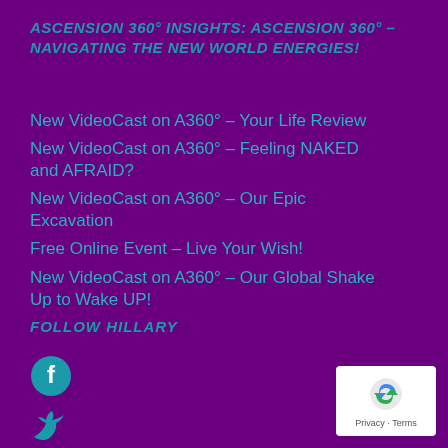ASCENSION 360° INSIGHTS: ASCENSION 360° – NAVIGATING THE NEW WORLD ENERGIES!
New VideoCast on A360° – Your Life Review
New VideoCast on A360° – Feeling NAKED and AFRAID?
New VideoCast on A360° – Our Epic Excavation
Free Online Event – Live Your Wish!
New VideoCast on A360° – Our Global Shake Up to Wake UP!
FOLLOW HILLARY
[Figure (logo): Facebook icon (teal circle with F)]
[Figure (logo): Twitter bird icon (teal)]
[Figure (logo): Instagram icon (teal)]
[Figure (logo): reCAPTCHA badge with Privacy and Terms text]